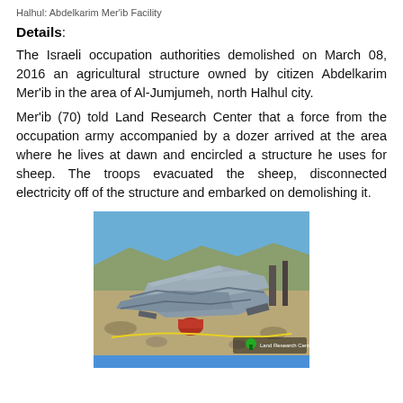Halhul: Abdelkarim Mer'ib Facility
Details:
The Israeli occupation authorities demolished on March 08, 2016 an agricultural structure owned by citizen Abdelkarim Mer'ib in the area of Al-Jumjumeh, north Halhul city.
Mer'ib (70) told Land Research Center that a force from the occupation army accompanied by a dozer arrived at the area where he lives at dawn and encircled a structure he uses for sheep. The troops evacuated the sheep, disconnected electricity off of the structure and embarked on demolishing it.
[Figure (photo): Photograph showing demolished agricultural structure with mangled metal roofing sheets and debris on rocky ground. Blue sky visible in background. Land Research Center logo (green tree) visible in lower right corner.]